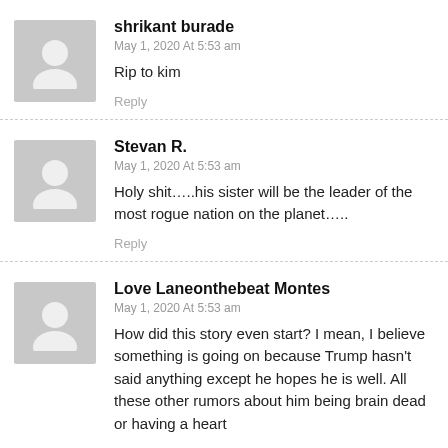shrikant burade
May 1, 2020 At 5:53 am
Rip to kim
Reply
Stevan R.
May 1, 2020 At 5:53 am
Holy shit…..his sister will be the leader of the most rogue nation on the planet…..
Reply
Love Laneonthebeat Montes
May 1, 2020 At 5:53 am
How did this story even start? I mean, I believe something is going on because Trump hasn't said anything except he hopes he is well. All these other rumors about him being brain dead or having a heart